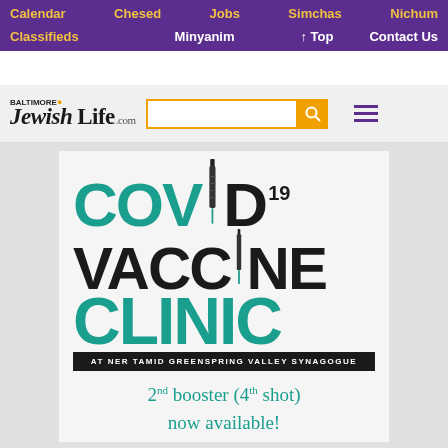Calendar  Chesed  Jobs  Simchas  Nichum  Classifieds  Minyanim  ↑ Top  Contact Us
[Figure (logo): Baltimore Jewish Life .com logo with search bar and hamburger menu]
[Figure (infographic): COVID-19 VACCINE CLINIC at Ner Tamid Greenspring Valley Synagogue. 2nd booster (4th shot) now available!]